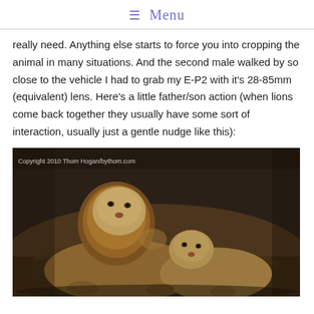≡ Menu
really need. Anything else starts to force you into cropping the animal in many situations. And the second male walked by so close to the vehicle I had to grab my E-P2 with it's 28-85mm (equivalent) lens. Here's a little father/son action (when lions come back together they usually have some sort of interaction, usually just a gentle nudge like this):
[Figure (photo): Photograph of two lions — a large adult male lion with a full mane and a smaller sub-adult lion — nuzzling/nudging each other. The lions are on rocky ground. Copyright 2010 Thom Hogan/bythom.com watermark visible in top-left corner of image.]